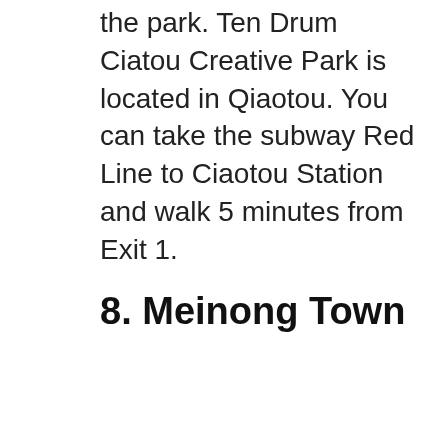the park. Ten Drum Ciatou Creative Park is located in Qiaotou. You can take the subway Red Line to Ciaotou Station and walk 5 minutes from Exit 1.
8. Meinong Town